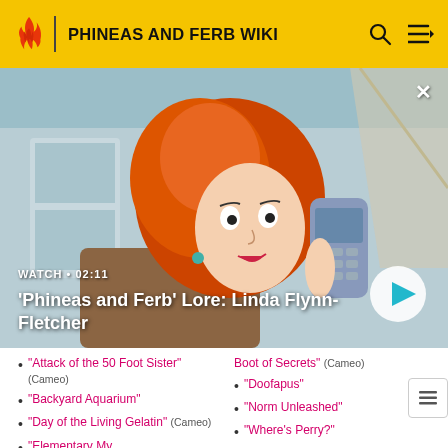PHINEAS AND FERB WIKI
[Figure (screenshot): Animated character Linda Flynn-Fletcher holding a flip phone, from Phineas and Ferb. Video thumbnail with play button overlay. Text reads WATCH • 02:11 and 'Phineas and Ferb' Lore: Linda Flynn-Fletcher]
"Attack of the 50 Foot Sister" (Cameo)
"Backyard Aquarium"
"Day of the Living Gelatin" (Cameo)
"Elementary My...
Boot of Secrets" (Cameo)
"Doofapus"
"Norm Unleashed"
"Where's Perry?"
"Where's Perry? (Part Two)"